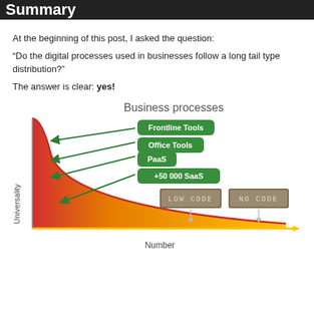Summary
At the beginning of this post, I asked the question:
“Do the digital processes used in businesses follow a long tail type distribution?”
The answer is clear: yes!
[Figure (infographic): Long tail distribution chart titled 'Business processes'. Y-axis labeled 'Universality', X-axis labeled 'Number'. The curve is red at the top/left and transitions to yellow/orange along the tail. Green labeled arrows point to positions on the curve: Frontline Tools, Office Tools, PaaS, +50 000 SaaS. At the tail are two photographic label images: 'LOW CODE' and 'NO CODE' with downward arrows indicating their position on the tail.]